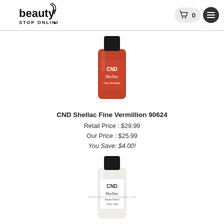beauty STOP ONLINE
[Figure (photo): CND Shellac Fine Vermillion nail polish bottle with red color and black cap]
CND Shellac Fine Vermillion 90624
Retail Price : $29.99
Our Price : $25.99
You Save: $4.00!
[Figure (photo): CND Shellac Power Polish Color Coat nail polish bottle with clear/white color and black cap]